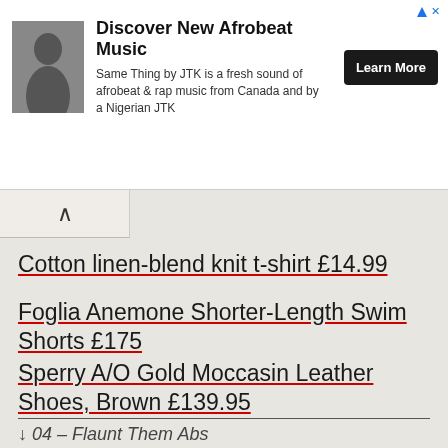[Figure (photo): Advertisement banner: black man photo, 'Discover New Afrobeat Music', text about Same Thing by JTK, Learn More button]
Cotton linen-blend knit t-shirt £14.99
Foglia Anemone Shorter-Length Swim Shorts £175
Sperry A/O Gold Moccasin Leather Shoes, Brown £139.95
↓ 04 – Flaunt Them Abs